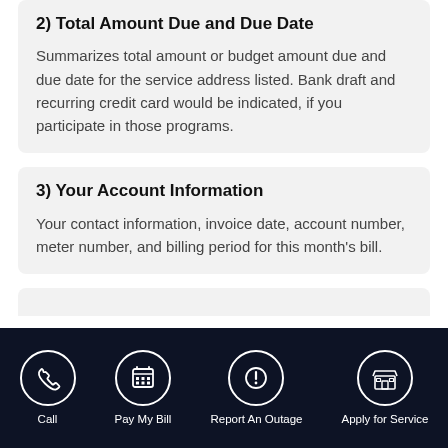2) Total Amount Due and Due Date
Summarizes total amount or budget amount due and due date for the service address listed. Bank draft and recurring credit card would be indicated, if you participate in those programs.
3) Your Account Information
Your contact information, invoice date, account number, meter number, and billing period for this month's bill.
Call | Pay My Bill | Report An Outage | Apply for Service